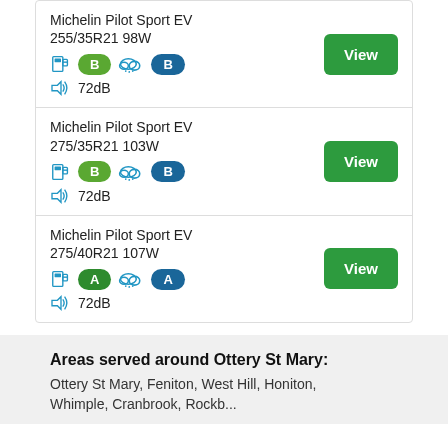Michelin Pilot Sport EV 255/35R21 98W — B, B, 72dB — View
Michelin Pilot Sport EV 275/35R21 103W — B, B, 72dB — View
Michelin Pilot Sport EV 275/40R21 107W — A, A, 72dB — View
Areas served around Ottery St Mary:
Ottery St Mary, Feniton, West Hill, Honiton, Whimple, Cranbrook, Rockb...